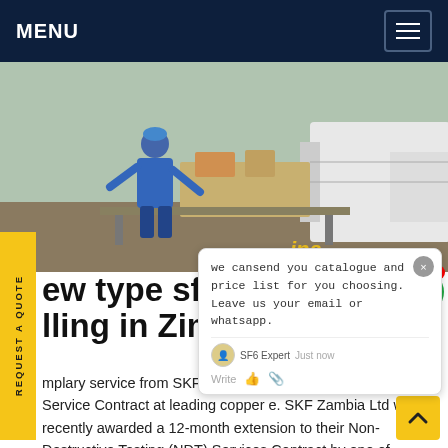MENU
[Figure (photo): A worker in blue overalls and hard hat operating equipment next to a truck on a worksite]
REQUEST A QUOTE
we cansend you catalogue and price list for you choosing. Leave us your email or whatsapp.
new type sf6 Alternating Current Series filling in Zimbabwe
mplary service from SKF Zambia secures ension of NDT Service Contract at leading copper e. SKF Zambia Ltd was recently awarded a 12-month extension to their Non-Destructive Testing (NDT) Services Contract by one of Zambia's large copper mines located in the country's North-Western Province. 2021.10.05 Get price